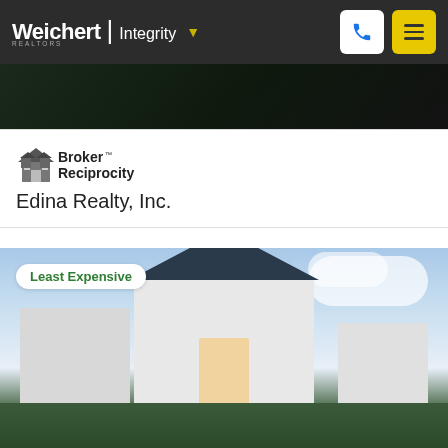Weichert | Integrity
[Figure (photo): Dark partial view of a house exterior at the top of the page behind the navigation bar]
[Figure (logo): Broker Reciprocity logo with house icon]
Edina Realty, Inc.
[Figure (photo): Photo of a large white two-story house with dark roof, illuminated entry door, flowering trees in foreground, dusk/evening sky]
Least Expensive